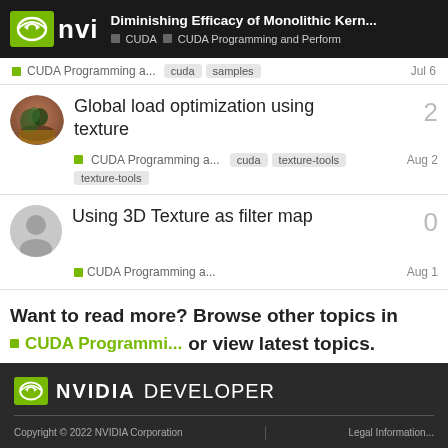Diminishing Efficacy of Monolithic Kern... | CUDA | CUDA Programming and Perform
CUDA Programming a... | cuda | samples | Jul 6
Global load optimization using texture
CUDA Programming a... | cuda | texture-tools | Aug 2 | 2
Using 3D Texture as filter map
CUDA Programming a... | Aug 1 | 0
Want to read more? Browse other topics in CUDA Programmi... or view latest topics.
NVIDIA DEVELOPER | Copyright © 2022 NVIDIA Corporation | Legal Information...